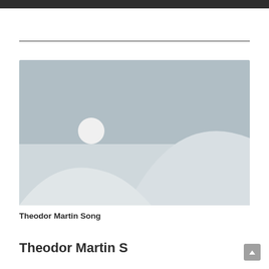[Figure (illustration): Generic image placeholder with light grey background, landscape silhouette hills and a white circle representing the sun]
Theodor Martin Song
Theodor Martin S…